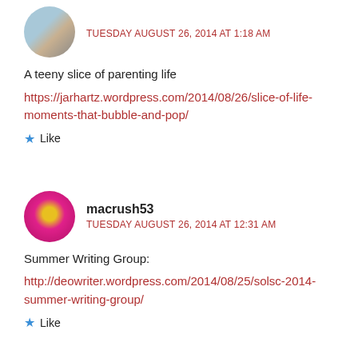TUESDAY AUGUST 26, 2014 AT 1:18 AM
A teeny slice of parenting life
https://jarhartz.wordpress.com/2014/08/26/slice-of-life-moments-that-bubble-and-pop/
Like
macrush53
TUESDAY AUGUST 26, 2014 AT 12:31 AM
Summer Writing Group:
http://deowriter.wordpress.com/2014/08/25/solsc-2014-summer-writing-group/
Like